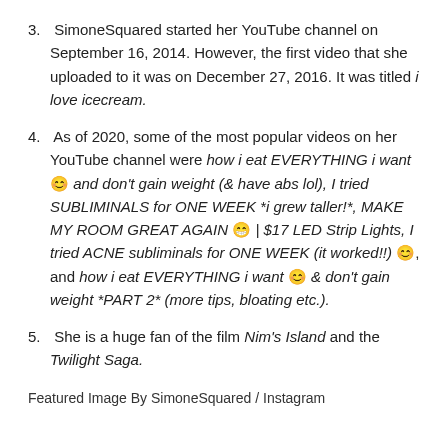3. SimoneSquared started her YouTube channel on September 16, 2014. However, the first video that she uploaded to it was on December 27, 2016. It was titled i love icecream.
4. As of 2020, some of the most popular videos on her YouTube channel were how i eat EVERYTHING i want 😊 and don't gain weight (& have abs lol), I tried SUBLIMINALS for ONE WEEK *i grew taller!*, MAKE MY ROOM GREAT AGAIN 😊 | $17 LED Strip Lights, I tried ACNE subliminals for ONE WEEK (it worked!!) 😊, and how i eat EVERYTHING i want 😊 & don't gain weight *PART 2* (more tips, bloating etc.).
5. She is a huge fan of the film Nim's Island and the Twilight Saga.
Featured Image By SimoneSquared / Instagram